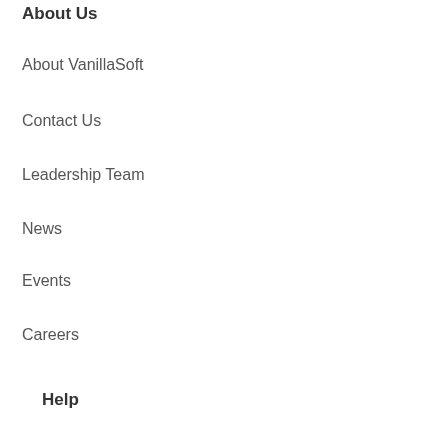About Us
About VanillaSoft
Contact Us
Leadership Team
News
Events
Careers
Help
VanillaSoft Support
Release Notes
Status
Request a Demo